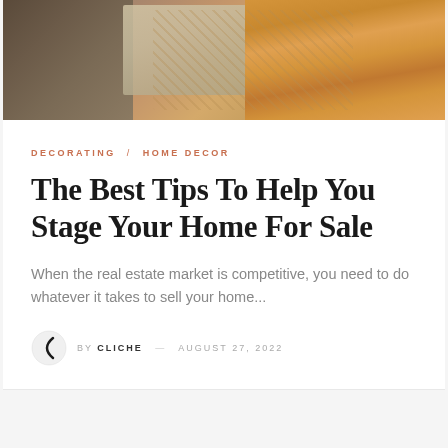[Figure (photo): Top portion of a home interior photo showing a dark fabric couch/chair on the left, a decorative rug in the center, and warm honey-toned hardwood flooring on the right]
DECORATING / HOME DECOR
The Best Tips To Help You Stage Your Home For Sale
When the real estate market is competitive, you need to do whatever it takes to sell your home...
by CLICHE — AUGUST 27, 2022